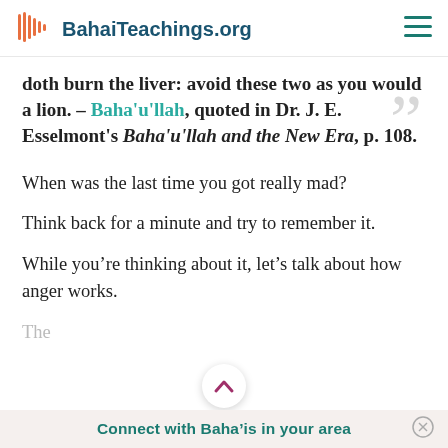BahaiTeachings.org
doth burn the liver: avoid these two as you would a lion. – Baha'u'llah, quoted in Dr. J. E. Esselmont's Baha'u'llah and the New Era, p. 108.
When was the last time you got really mad?
Think back for a minute and try to remember it.
While you're thinking about it, let's talk about how anger works.
Connect with Baha'is in your area